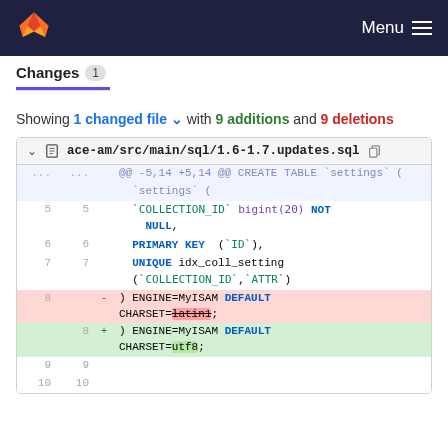Menu
Changes 1
Showing 1 changed file with 9 additions and 9 deletions
| old | new | sign | code |
| --- | --- | --- | --- |
| ... | ... |  | @@ -5,14 +5,14 @@ CREATE TABLE `settings` ( |
| 5 | 5 |  | `COLLECTION_ID` bigint(20) NOT NULL, |
| 6 | 6 |  | PRIMARY KEY  (`ID`), |
| 7 | 7 |  | UNIQUE idx_coll_setting (`COLLECTION_ID`,`ATTR`) |
| 8 |  | - | ) ENGINE=MyISAM DEFAULT CHARSET=latin1; |
|  | 8 | + | ) ENGINE=MyISAM DEFAULT CHARSET=utf8; |
| 9 | 9 |  |  |
| 10 | 10 |  |  |